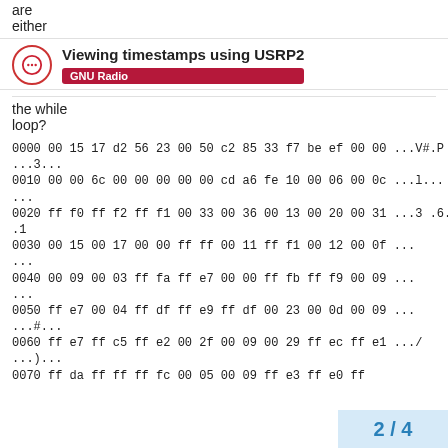are
either
Viewing timestamps using USRP2
GNU Radio
the while
loop?
0000 00 15 17 d2 56 23 00 50 c2 85 33 f7 be ef 00 00 ...V#.P
...3...
0010 00 00 6c 00 00 00 00 00 cd a6 fe 10 00 06 00 0c ...l...
...
0020 ff f0 ff f2 ff f1 00 33 00 36 00 13 00 20 00 31 ...3 .6...
.1
0030 00 15 00 17 00 00 ff ff 00 11 ff f1 00 12 00 0f ...
...
0040 00 09 00 03 ff fa ff e7 00 00 ff fb ff f9 00 09 ...
...
0050 ff e7 00 04 ff df ff e9 ff df 00 23 00 0d 00 09 ...
...#...
0060 ff e7 ff c5 ff e2 00 2f 00 09 00 29 ff ec ff e1 .../
...)...
0070 ff da ff ff ff fc 00 05 00 09 ff e3 ff e0 ff
2 / 4